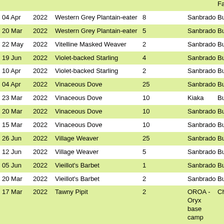| Date | Year | Species | Count |  | Location | Country |
| --- | --- | --- | --- | --- | --- | --- |
|  |  |  |  |  |  | Faso |
| 04 Apr | 2022 | Western Grey Plantain-eater | 8 |  | Sanbrado | Burki Faso |
| 20 Mar | 2022 | Western Grey Plantain-eater | 5 |  | Sanbrado | Burki Faso |
| 22 May | 2022 | Vitelline Masked Weaver | 2 |  | Sanbrado | Burki Faso |
| 19 Jun | 2022 | Violet-backed Starling | 4 |  | Sanbrado | Burki Faso |
| 10 Apr | 2022 | Violet-backed Starling | 2 |  | Sanbrado | Burki Faso |
| 04 Apr | 2022 | Vinaceous Dove | 25 |  | Sanbrado | Burki Faso |
| 23 Mar | 2022 | Vinaceous Dove | 10 |  | Kiaka | Burki Faso |
| 20 Mar | 2022 | Vinaceous Dove | 10 |  | Sanbrado | Burki Faso |
| 15 Mar | 2022 | Vinaceous Dove | 10 |  | Sanbrado | Burki Faso |
| 26 Jun | 2022 | Village Weaver | 25 |  | Sanbrado | Burki Faso |
| 12 Jun | 2022 | Village Weaver | 5 |  | Sanbrado | Burki Faso |
| 05 Jun | 2022 | Vieillot's Barbet | 1 |  | Sanbrado | Burki Faso |
| 20 Mar | 2022 | Vieillot's Barbet | 2 |  | Sanbrado | Burki Faso |
| 17 Mar | 2022 | Tawny Pipit | 2 |  | OROA - Oryx base camp | Chad |
| 20 Mar | 2022 | Tawny-flanked Prinia | 1 |  | Sanbrado | Burki Faso |